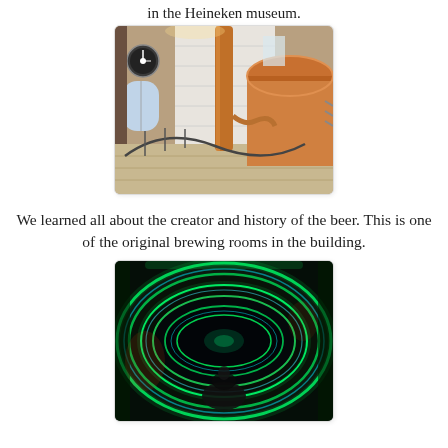in the Heineken museum.
[Figure (photo): Interior of the Heineken museum showing original brewing equipment — copper brewing vats, piping, ornate iron railings, a clock on the wall, white brick walls and tiled floor, warm amber lighting.]
We learned all about the creator and history of the beer. This is one of the original brewing rooms in the building.
[Figure (photo): A green and cyan neon-lit tunnel with curved walls and spiraling lights, with a person visible inside, part of an immersive experience at the Heineken museum.]